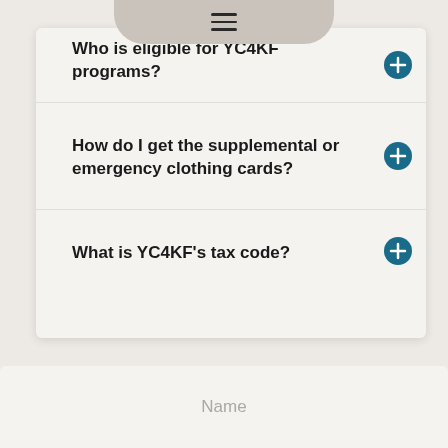Who is eligible for YC4KF programs?
How do I get the supplemental or emergency clothing cards?
What is YC4KF's tax code?
Name